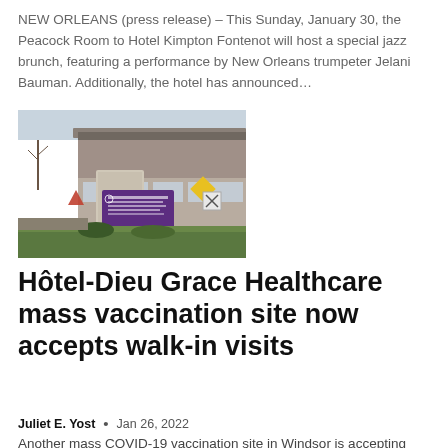NEW ORLEANS (press release) – This Sunday, January 30, the Peacock Room to Hotel Kimpton Fontenot will host a special jazz brunch, featuring a performance by New Orleans trumpeter Jelani Bauman. Additionally, the hotel has announced…
[Figure (photo): Exterior photo of Hôtel-Dieu Grace Healthcare building showing entrance with brick structure, stone sign post with purple hospital sign, yellow diamond warning sign, and landscaped grounds]
Hôtel-Dieu Grace Healthcare mass vaccination site now accepts walk-in visits
Juliet E. Yost  •  Jan 26, 2022
Another mass COVID-19 vaccination site in Windsor is accepting